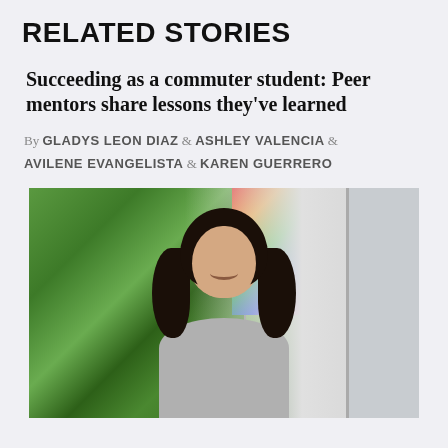RELATED STORIES
Succeeding as a commuter student: Peer mentors share lessons they've learned
By GLADYS LEON DIAZ & ASHLEY VALENCIA & AVILENE EVANGELISTA & KAREN GUERRERO
[Figure (photo): A young woman with dark curly hair, smiling, standing in front of colorful paintings and a partition wall in what appears to be an office or gallery space.]